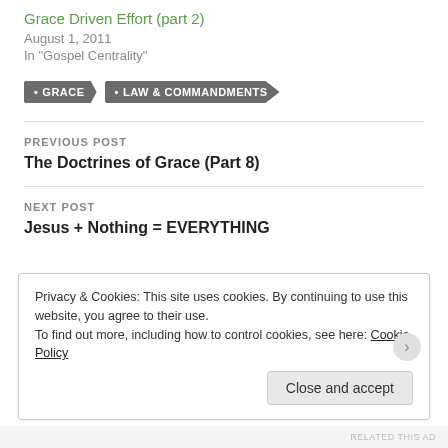Grace Driven Effort (part 2)
August 1, 2011
In "Gospel Centrality"
GRACE  LAW & COMMANDMENTS
PREVIOUS POST
The Doctrines of Grace (Part 8)
NEXT POST
Jesus + Nothing = EVERYTHING
Privacy & Cookies: This site uses cookies. By continuing to use this website, you agree to their use.
To find out more, including how to control cookies, see here: Cookie Policy
Close and accept